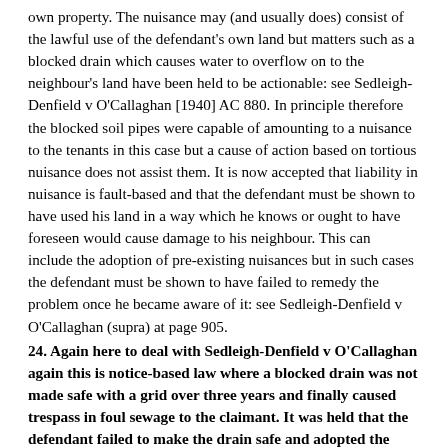own property.  The nuisance may (and usually does) consist of the lawful use of the defendant's own land but matters such as a blocked drain which causes water to overflow on to the neighbour's land have been held to be actionable: see Sedleigh-Denfield v O'Callaghan [1940] AC 880.  In principle therefore the blocked soil pipes were capable of amounting to a nuisance to the tenants in this case but a cause of action based on tortious nuisance does not assist them.  It is now accepted that liability in nuisance is fault-based and that the defendant must be shown to have used his land in a way which he knows or ought to have foreseen would cause damage to his neighbour.  This can include the adoption of pre-existing nuisances but in such cases the defendant must be shown to have failed to remedy the problem once he became aware of it: see Sedleigh-Denfield v O'Callaghan (supra) at page 905.
24. Again here to deal with Sedleigh-Denfield v O'Callaghan again this is notice-based law where a blocked drain was not made safe with a grid over three years and finally caused trespass in foul sewage to the claimant. It was held that the defendant failed to make the drain safe and adopted the nuisance over the three-year period so despite notice damage was eventually caused and held as such.